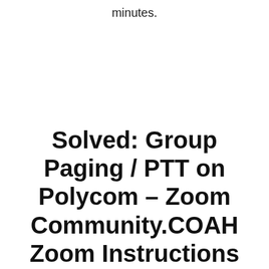minutes.
Solved: Group Paging / PTT on Polycom – Zoom Community.COAH Zoom Instructions